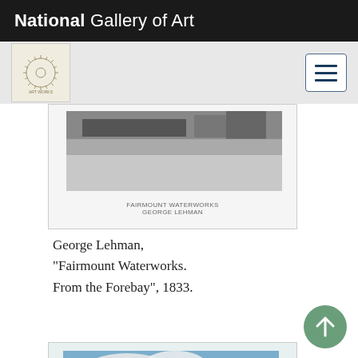National Gallery of Art
[Figure (screenshot): Gray sub-navigation bar with Art Works logo square on left and hamburger menu button on right]
[Figure (photo): Partially visible artwork - Fairmount Waterworks print, grayscale, showing architectural scene with text label below image]
George Lehman, "Fairmount Waterworks. From the Forebay", 1833.
[Figure (photo): Colorful landscape painting showing a large white building with trees, red chimney, blue sky with clouds - second artwork card partially visible]